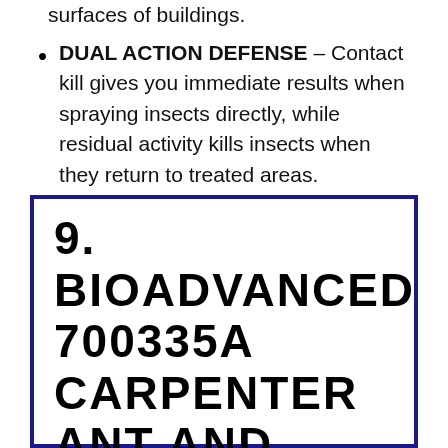surfaces of buildings.
DUAL ACTION DEFENSE – Contact kill gives you immediate results when spraying insects directly, while residual activity kills insects when they return to treated areas.
9. BIOADVANCED 700335A CARPENTER ANT AND TERMITE KILLER PLUS PESTICIDE FOR